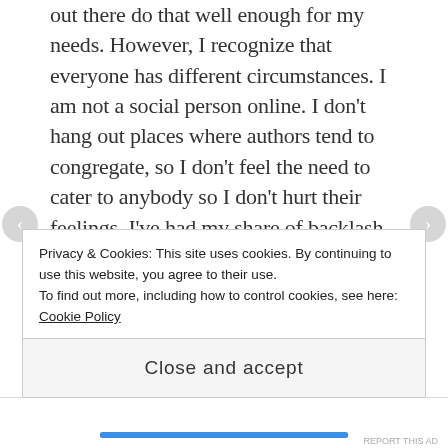out there do that well enough for my needs. However, I recognize that everyone has different circumstances. I am not a social person online. I don't hang out places where authors tend to congregate, so I don't feel the need to cater to anybody so I don't hurt their feelings. I've had my share of backlash from authors and their fans before, and it's annoying/infuriating/hurtful, but that's what delete is for on my email. If I allow it to continue and get to me, it's my own fault for continuing to read their messages. But again, I don't have social interactions with authors, because I truly believe it's impossible to be completely unbiased once that starts happening. I don't listen to
Privacy & Cookies: This site uses cookies. By continuing to use this website, you agree to their use.
To find out more, including how to control cookies, see here: Cookie Policy
Close and accept